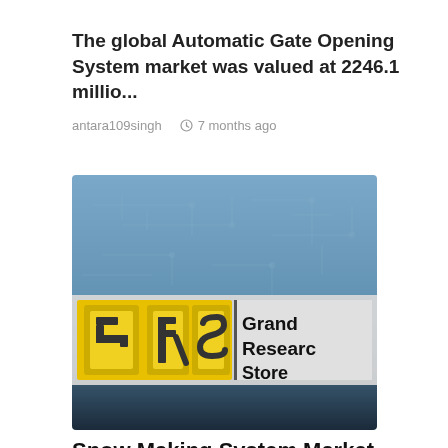The global Automatic Gate Opening System market was valued at 2246.1 millio...
antara109singh  ⏱ 7 months ago
[Figure (logo): Grand Research Store logo on a blue circuit-board background. Shows stylized letters 'GRS' in yellow and silver metallic style with text 'Grand Research Store' to the right.]
Snow Making System Market